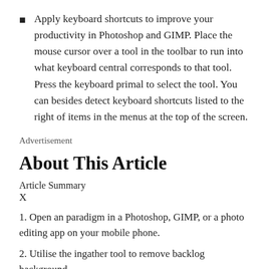Apply keyboard shortcuts to improve your productivity in Photoshop and GIMP. Place the mouse cursor over a tool in the toolbar to run into what keyboard central corresponds to that tool. Press the keyboard primal to select the tool. You can besides detect keyboard shortcuts listed to the right of items in the menus at the top of the screen.
Advertisement
About This Article
Article Summary
X
1. Open an paradigm in a Photoshop, GIMP, or a photo editing app on your mobile phone.
2. Utilise the ingather tool to remove backlog background